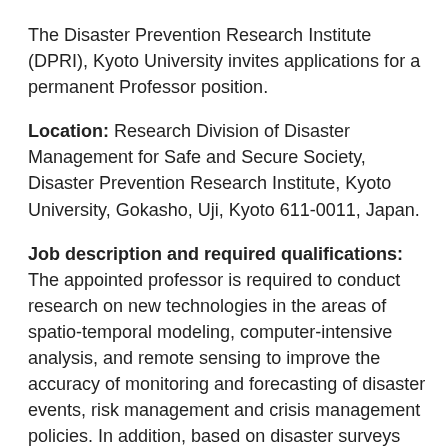The Disaster Prevention Research Institute (DPRI), Kyoto University invites applications for a permanent Professor position.
Location: Research Division of Disaster Management for Safe and Secure Society, Disaster Prevention Research Institute, Kyoto University, Gokasho, Uji, Kyoto 611-0011, Japan.
Job description and required qualifications:
The appointed professor is required to conduct research on new technologies in the areas of spatio-temporal modeling, computer-intensive analysis, and remote sensing to improve the accuracy of monitoring and forecasting of disaster events, risk management and crisis management policies. In addition, based on disaster surveys and field observations, the candidate is expected strongly to promote research on disaster risk reduction by understanding the interaction between hydrologic cycle and societal change. Considering climate change impacts, the candidate is also expected